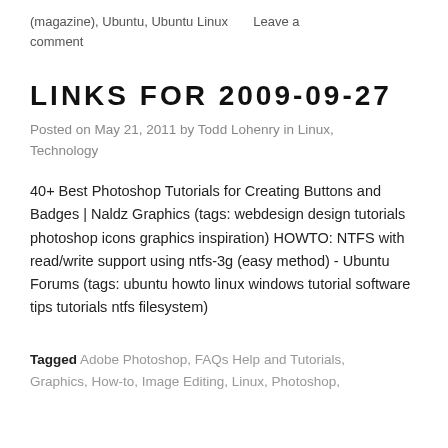(magazine), Ubuntu, Ubuntu Linux    Leave a comment
LINKS FOR 2009-09-27
Posted on May 21, 2011 by Todd Lohenry in Linux, Technology
40+ Best Photoshop Tutorials for Creating Buttons and Badges | Naldz Graphics (tags: webdesign design tutorials photoshop icons graphics inspiration) HOWTO: NTFS with read/write support using ntfs-3g (easy method) - Ubuntu Forums (tags: ubuntu howto linux windows tutorial software tips tutorials ntfs filesystem)
Tagged Adobe Photoshop, FAQs Help and Tutorials, Graphics, How-to, Image Editing, Linux, Photoshop,